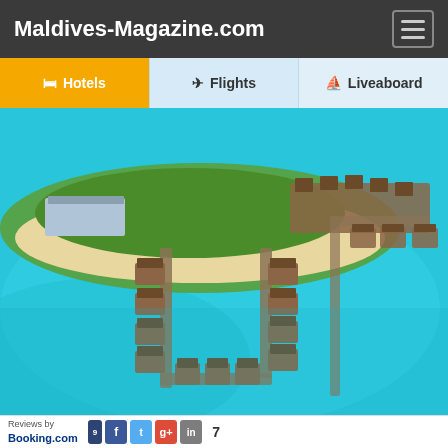Maldives-Magazine.com
[Figure (screenshot): Website navigation bar with Hotels, Flights, and Liveaboard tabs. Hotels tab is highlighted in yellow/gold, Flights tab in light blue, Liveaboard in light blue.]
[Figure (photo): Aerial photograph of a Maldives resort island showing overwater bungalows arranged in pier formations extending into bright turquoise water, with lush green vegetation on the island and white sandy beach.]
[Figure (screenshot): Bottom review bar showing 'Reviews by Booking.com' logo along with social sharing buttons (Facebook, Twitter, Google+) and a count of 7.]